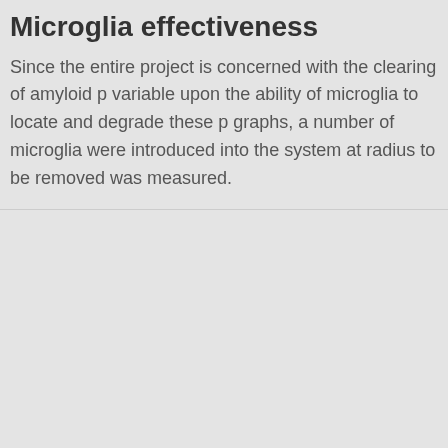Microglia effectiveness
Since the entire project is concerned with the clearing of amyloid plaques, variable upon the ability of microglia to locate and degrade these plaques. In graphs, a number of microglia were introduced into the system at time and the radius to be removed was measured.